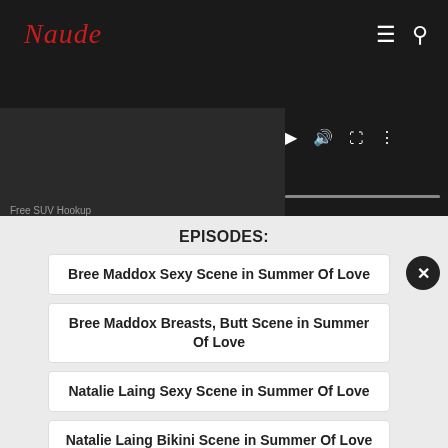Naude (logo)
EPISODES:
Bree Maddox Sexy Scene in Summer Of Love
Bree Maddox Breasts, Butt Scene in Summer Of Love
Natalie Laing Sexy Scene in Summer Of Love
Natalie Laing Bikini Scene in Summer Of Love
Natalie Laing Breasts, Butt Scene in Summer Of Love
▶ Natalie Laing Underwear Scene in Summer